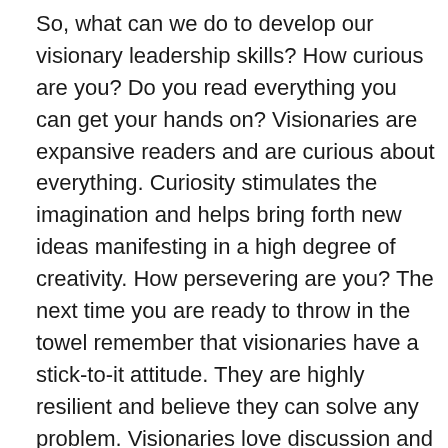So, what can we do to develop our visionary leadership skills? How curious are you? Do you read everything you can get your hands on? Visionaries are expansive readers and are curious about everything. Curiosity stimulates the imagination and helps bring forth new ideas manifesting in a high degree of creativity. How persevering are you? The next time you are ready to throw in the towel remember that visionaries have a stick-to-it attitude. They are highly resilient and believe they can solve any problem. Visionaries love discussion and debate. Some may see this as confrontational, but it really is not. Instead, a visionary listens to differing points of view even when it gets a bit lively.
What other ways can we model visionary behavior? Do you embrace change or are you more comfortable living with doing things the same way? Visionaries are change